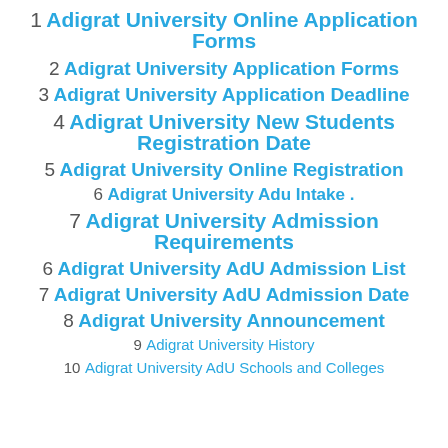1 Adigrat University Online Application Forms
2 Adigrat University Application Forms
3 Adigrat University Application Deadline
4 Adigrat University New Students Registration Date
5 Adigrat University Online Registration
6 Adigrat University Adu Intake .
7 Adigrat University Admission Requirements
6 Adigrat University AdU Admission List
7 Adigrat University AdU Admission Date
8 Adigrat University Announcement
9 Adigrat University History
10 Adigrat University AdU Schools and Colleges